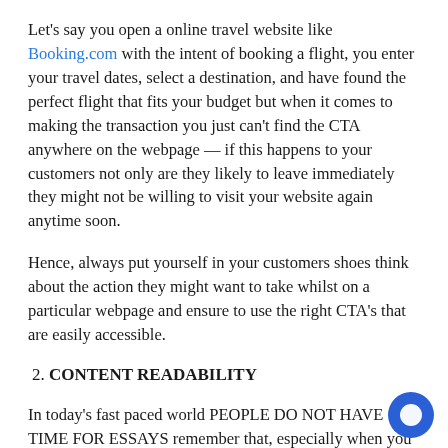Let's say you open a online travel website like Booking.com with the intent of booking a flight, you enter your travel dates, select a destination, and have found the perfect flight that fits your budget but when it comes to making the transaction you just can't find the CTA anywhere on the webpage — if this happens to your customers not only are they likely to leave immediately they might not be willing to visit your website again anytime soon.
Hence, always put yourself in your customers shoes think about the action they might want to take whilst on a particular webpage and ensure to use the right CTA's that are easily accessible.
2. CONTENT READABILITY
In today's fast paced world PEOPLE DO NOT HAVE TIME FOR ESSAYS remember that, especially when you are trying to get your content to rank on Search engines like Google — Hence